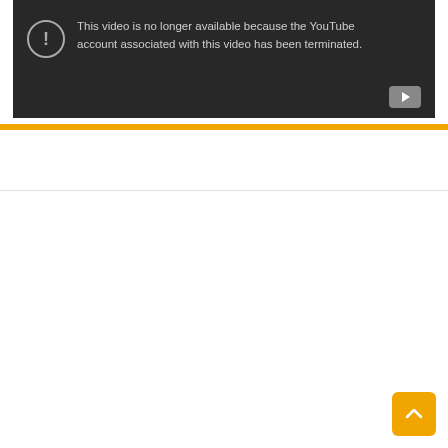[Figure (screenshot): YouTube video unavailable message on dark background. Circle exclamation icon with text: 'This video is no longer available because the YouTube account associated with this video has been terminated.' YouTube play button icon at bottom right.]
[Figure (other): Orange horizontal divider bar across full page width.]
[Figure (other): White empty content section below divider with orange back-to-top button at bottom right.]